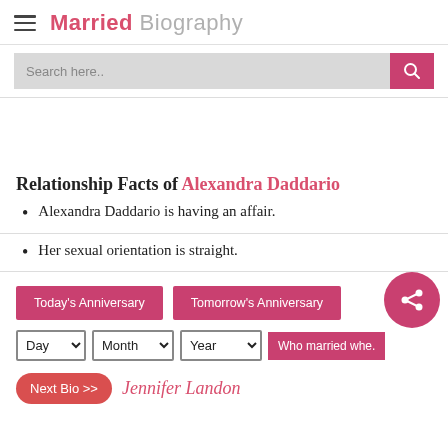Married Biography
Search here..
Relationship Facts of Alexandra Daddario
Alexandra Daddario is having an affair.
Her sexual orientation is straight.
Today's Anniversary | Tomorrow's Anniversary
Day | Month | Year | Who married whe.
Next Bio >> Jennifer Landon